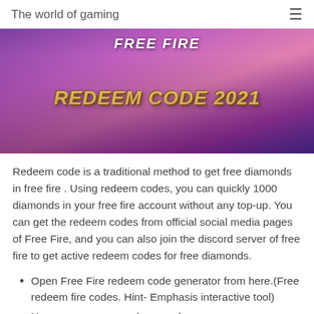The world of gaming
[Figure (photo): Free Fire game promotional banner showing characters with text 'FREE FIRE' at top and 'REDEEM CODE 2021' in large gold letters in the center, set against a purple/pink action scene background.]
Redeem code is a traditional method to get free diamonds in free fire . Using redeem codes, you can quickly 1000 diamonds in your free fire account without any top-up. You can get the redeem codes from official social media pages of Free Fire, and you can also join the discord server of free fire to get active redeem codes for free diamonds.
Open Free Fire redeem code generator from here.(Free redeem fire codes. Hint- Emphasis interactive tool)
Now copy any one redeem code